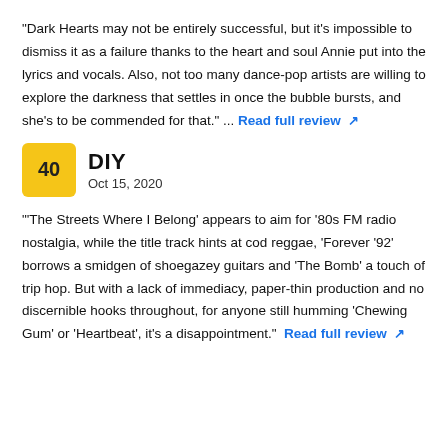"Dark Hearts may not be entirely successful, but it's impossible to dismiss it as a failure thanks to the heart and soul Annie put into the lyrics and vocals. Also, not too many dance-pop artists are willing to explore the darkness that settles in once the bubble bursts, and she's to be commended for that." ... Read full review
40 | DIY | Oct 15, 2020
'The Streets Where I Belong' appears to aim for '80s FM radio nostalgia, while the title track hints at cod reggae, 'Forever '92' borrows a smidgen of shoegazey guitars and 'The Bomb' a touch of trip hop. But with a lack of immediacy, paper-thin production and no discernible hooks throughout, for anyone still humming 'Chewing Gum' or 'Heartbeat', it's a disappointment." ... Read full review